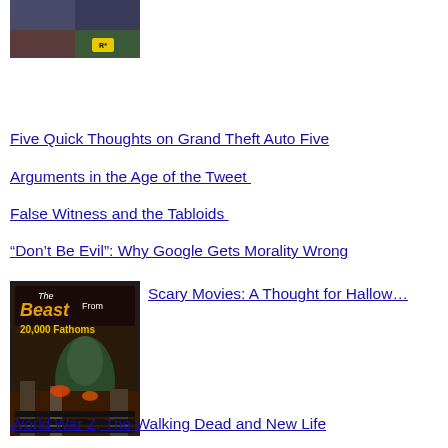[Figure (photo): GTA Five game cover image with characters and Rockstar Games logo]
Five Quick Thoughts on Grand Theft Auto Five
Arguments in the Age of the Tweet
False Witness and the Tabloids
“Don’t Be Evil”: Why Google Gets Morality Wrong
[Figure (photo): Movie cover for The Beast From 20,000 Fathoms]
Scary Movies: A Thought for Hallow…
World War Z, The Walking Dead and New Life